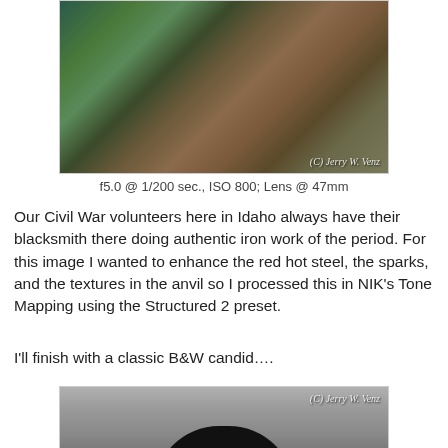[Figure (photo): Color photo of blacksmith tools and iron work on a blue background, with copyright watermark '(C) Jerry W. Venz']
f5.0 @ 1/200 sec., ISO 800; Lens @ 47mm
Our Civil War volunteers here in Idaho always have their blacksmith there doing authentic iron work of the period. For this image I wanted to enhance the red hot steel, the sparks, and the textures in the anvil so I processed this in NIK's Tone Mapping using the Structured 2 preset.
I'll finish with a classic B&W candid....
[Figure (photo): Black and white candid photo of a man wearing a wide-brimmed hat, with copyright watermark '(C) Jerry W. Venz']